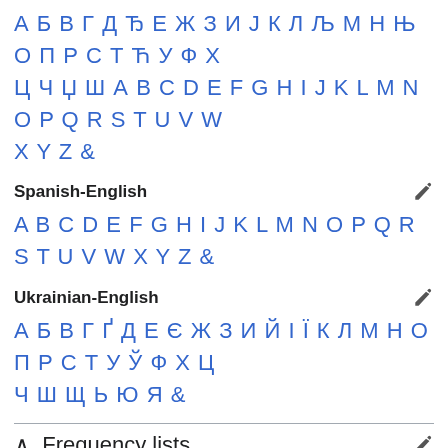А Б В Г Д Ђ Е Ж З И Ј К Л Љ М Н Њ О П Р С Т Ћ У Ф Х Ц Ч Џ Ш А B C D E F G H I J K L M N O P Q R S T U V W X Y Z &
Spanish-English
A B C D E F G H I J K L M N O P Q R S T U V W X Y Z &
Ukrainian-English
А Б В Г Ґ Д Е Є Ж З И Й І Ї К Л М Н О П Р С Т У Ў Ф Х Ц Ч Ш Щ Ь Ю Я &
^ Frequency lists
Spanish frequency list
Unformated Spanish frequency list, generated in 2008